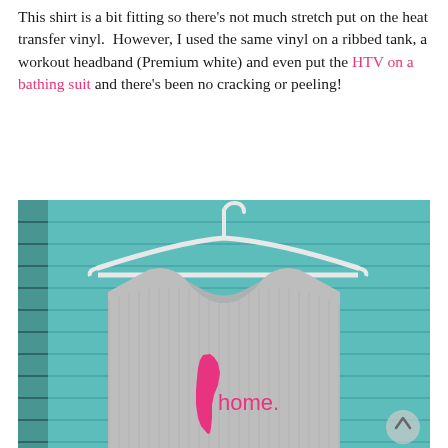This shirt is a bit fitting so there's not much stretch put on the heat transfer vinyl.  However, I used the same vinyl on a ribbed tank, a workout headband (Premium white) and even put the HTV on a bathing suit and there's been no cracking or peeling!
[Figure (photo): A gray ribbed tank top hanging on a white hanger in front of a teal/mint slatted shutter door. The tank top has a hot pink heat transfer vinyl design of the state of Delaware with the word 'home.' printed in pink on it.]